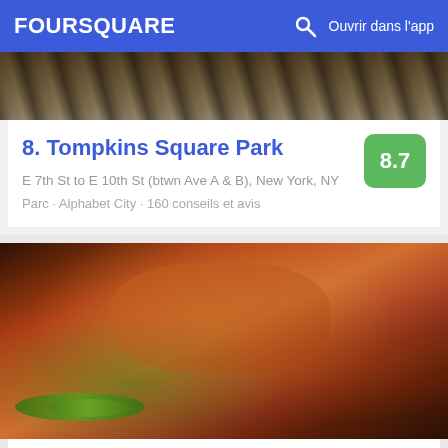FOURSQUARE  Ouvrir dans l'app
[Figure (photo): Partial outdoor photo strip at top of page, showing dark tree/park scene]
8. Tompkins Square Park
8.7
E 7th St to E 10th St (btwn Ave A & B), New York, NY
Parc · Alphabet City · 160 conseils et avis
[Figure (photo): Close-up food photo of pork belly buns (Momofuku style) with cucumber garnish]
9. Momofuku Ssäm Bar
207 2nd Ave (at E 13th St), New York, NY